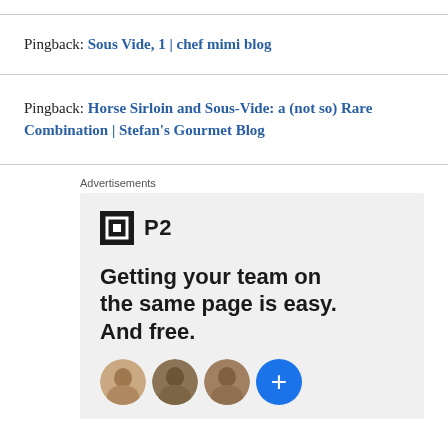Pingback: Sous Vide, 1 | chef mimi blog
Pingback: Horse Sirloin and Sous-Vide: a (not so) Rare Combination | Stefan's Gourmet Blog
Advertisements
[Figure (other): P2 advertisement banner with logo, headline 'Getting your team on the same page is easy. And free.' and profile photo avatars with a blue plus circle button.]